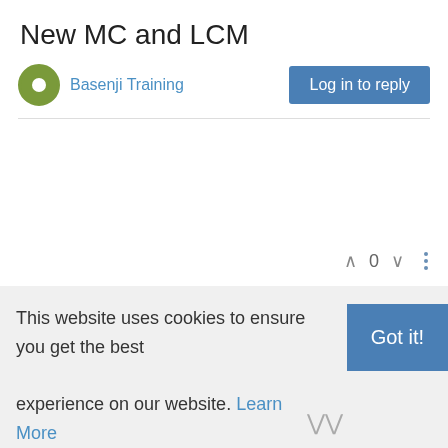New MC and LCM
Basenji Training
Log in to reply
0
This website uses cookies to ensure you get the best experience on our website. Learn More
Got it!